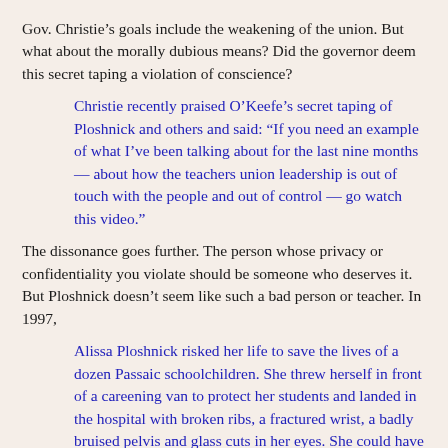Gov. Christie’s goals include the weakening of the union. But what about the morally dubious means? Did the governor deem this secret taping a violation of conscience?
Christie recently praised O’Keefe’s secret taping of Ploshnick and others and said: “If you need an example of what I’ve been talking about for the last nine months — about how the teachers union leadership is out of touch with the people and out of control — go watch this video.”
The dissonance goes further. The person whose privacy or confidentiality you violate should be someone who deserves it. But Ploshnick doesn’t seem like such a bad person or teacher. In 1997,
Alissa Ploshnick risked her life to save the lives of a dozen Passaic schoolchildren. She threw herself in front of a careening van to protect her students and landed in the hospital with broken ribs, a fractured wrist, a badly bruised pelvis and glass cuts in her eyes. She could have died. . . . She says she spent $9,000 of her own money on school supplies for her students,